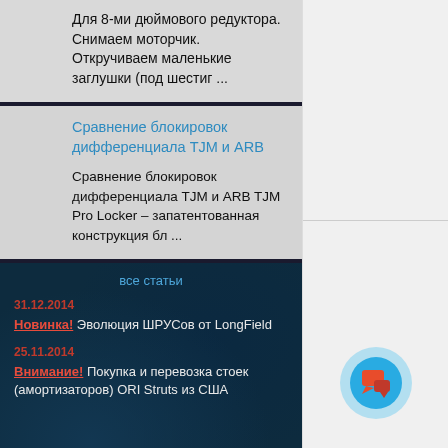Для 8-ми дюймового редуктора. Снимаем моторчик. Откручиваем маленькие заглушки (под шестиг ...
Сравнение блокировок дифференциала TJM и ARB
Сравнение блокировок дифференциала TJM и ARB TJM Pro Locker – запатентованная конструкция бл ...
все статьи
31.12.2014
Новинка! Эволюция ШРУСов от LongField
25.11.2014
Внимание! Покупка и перевозка стоек (амортизаторов) ORI Struts из США
[Figure (illustration): Chat bubble icon: orange speech bubble on blue circle with light blue outer ring]